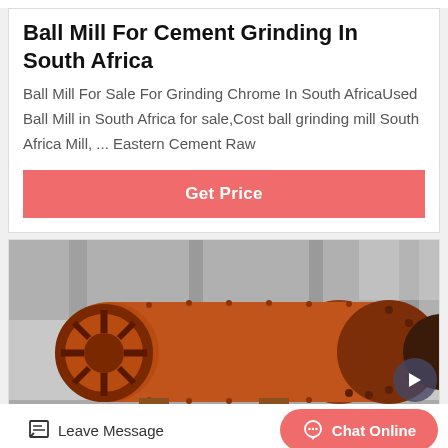Ball Mill For Cement Grinding In South Africa
Ball Mill For Sale For Grinding Chrome In South AfricaUsed Ball Mill in South Africa for sale,Cost ball grinding mill South Africa Mill, ... Eastern Cement Raw
[Figure (other): Red/orange industrial ball mill machine in a factory setting, showing the cylindrical drum with bolted flanges and a large wheel on the left side]
Leave Message
Chat Online